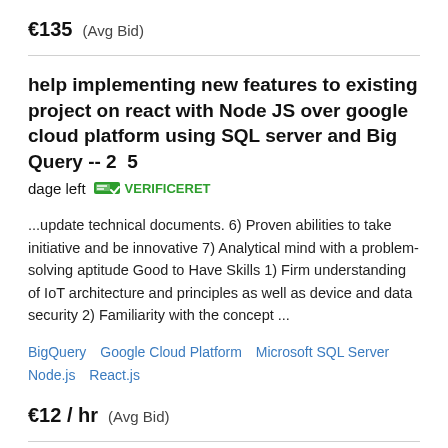€135  (Avg Bid)
help implementing new features to existing project on react with Node JS over google cloud platform using SQL server and Big Query -- 2  5 dage left  VERIFICERET
...update technical documents. 6) Proven abilities to take initiative and be innovative 7) Analytical mind with a problem-solving aptitude Good to Have Skills 1) Firm understanding of IoT architecture and principles as well as device and data security 2) Familiarity with the concept ...
BigQuery   Google Cloud Platform   Microsoft SQL Server   Node.js   React.js
€12 / hr  (Avg Bid)
Add contact details to a list of Polish B2B